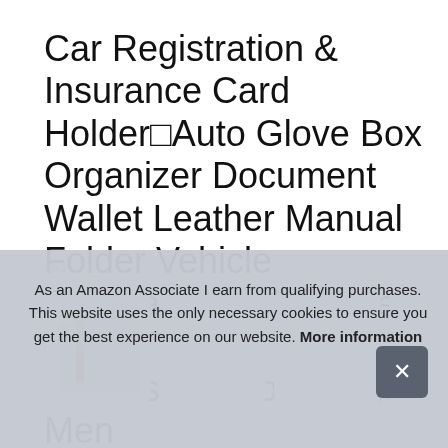Car Registration & Insurance Card Holder□Auto Glove Box Organizer Document Wallet Leather Manual Folder Vehicle Compartment License Case Truck Accessories for Women Men
#ad
[Figure (photo): Partial view of product image thumbnails showing a car registration/document holder product]
As an Amazon Associate I earn from qualifying purchases. This website uses the only necessary cookies to ensure you get the best experience on our website. More information